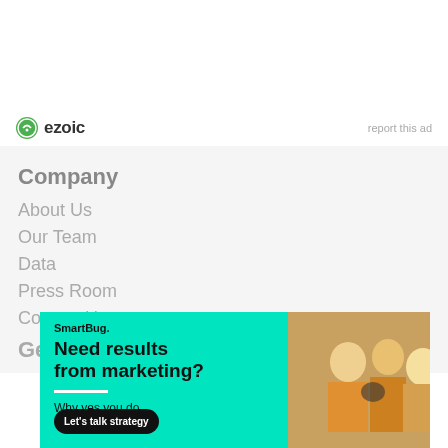[Figure (logo): Ezoic logo with green circular icon and 'ezoic' text in dark bold font]
report this ad
Company
About Us
Our Team
Data
Press Room
Contact Us
Get Started
[Figure (infographic): SmartBug advertisement banner with cyan/teal background. Text reads 'Need results from marketing? Why yes you do.' with a 'Let's talk strategy' CTA button. Right side shows photo of people working together.]